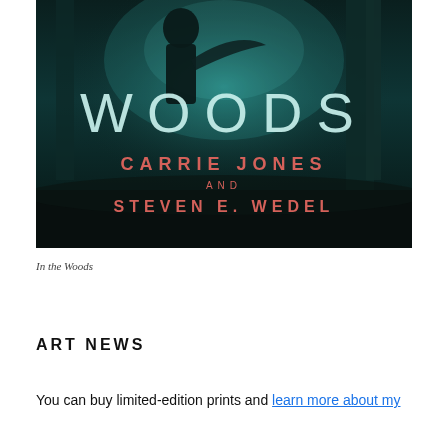[Figure (illustration): Book cover of 'In the Woods' by Carrie Jones and Steven E. Wedel. Dark atmospheric background showing a misty forest with a shadowy figure. Large text 'WOODS' in teal/white letters. Below it 'CARRIE JONES AND STEVEN E. WEDEL' in red/salmon letters.]
In the Woods
ART NEWS
You can buy limited-edition prints and learn more about my